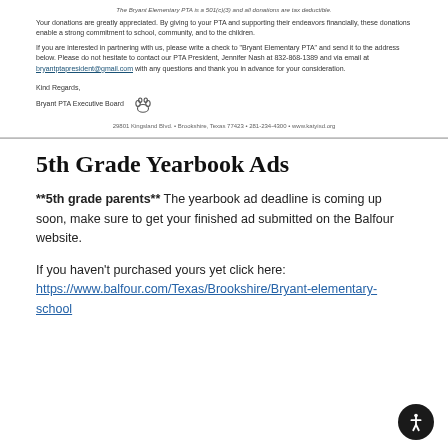The Bryant Elementary PTA is a 501(c)(3) and all donations are tax deductible.
Your donations are greatly appreciated. By giving to your PTA and supporting their endeavors financially, these donations enable a strong commitment to school, community, and to the children.
If you are interested in partnering with us, please write a check to "Bryant Elementary PTA" and send it to the address below. Please do not hesitate to contact our PTA President, Jennifer Nash at 832-868-1389 and via email at bryantptapresident@gmail.com with any questions and thank you in advance for your consideration.
Kind Regards,
Bryant PTA Executive Board
29801 Kingsland Blvd. • Brookshire, Texas 77423 • 281-234-4300 • www.katyisd.org
5th Grade Yearbook Ads
**5th grade parents** The yearbook ad deadline is coming up soon, make sure to get your finished ad submitted on the Balfour website.
If you haven't purchased yours yet click here:
https://www.balfour.com/Texas/Brookshire/Bryant-elementary-school